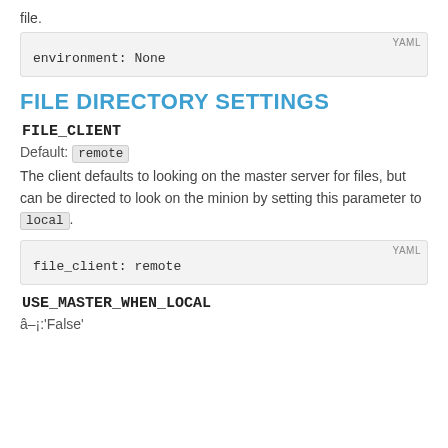file.
environment: None
FILE DIRECTORY SETTINGS
FILE_CLIENT
Default: remote
The client defaults to looking on the master server for files, but can be directed to look on the minion by setting this parameter to local.
file_client: remote
USE_MASTER_WHEN_LOCAL
??:'False'